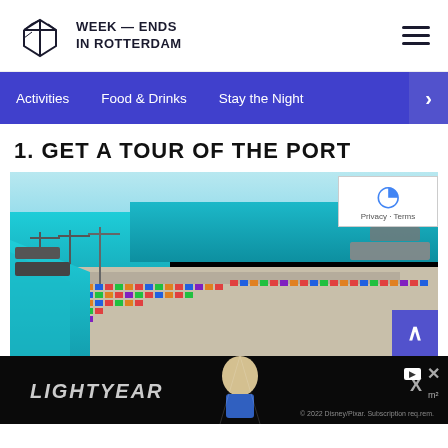WEEK — ENDS IN ROTTERDAM
Activities | Food & Drinks | Stay the Night
1. GET A TOUR OF THE PORT
[Figure (photo): Aerial photo of the Port of Rotterdam showing vast container terminal with colorful shipping containers, cranes, and ships alongside teal-blue water.]
[Figure (screenshot): Advertisement banner at bottom of page showing Lightyear movie promotional content on dark background.]